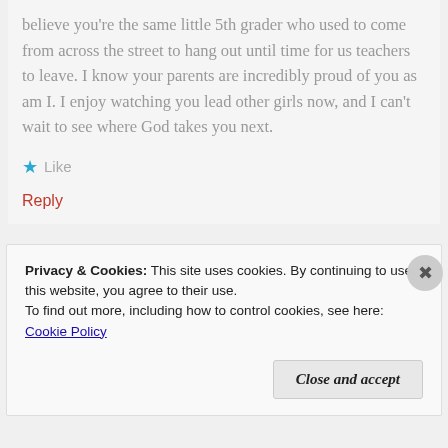believe you're the same little 5th grader who used to come from across the street to hang out until time for us teachers to leave. I know your parents are incredibly proud of you as am I. I enjoy watching you lead other girls now, and I can't wait to see where God takes you next.
★ Like
Reply
Privacy & Cookies: This site uses cookies. By continuing to use this website, you agree to their use.
To find out more, including how to control cookies, see here: Cookie Policy
Close and accept